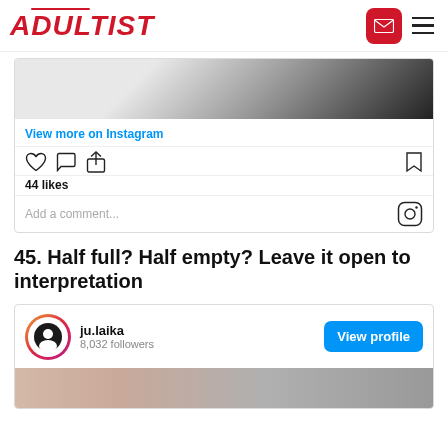ADULTIST
[Figure (screenshot): Instagram embed showing partial image, View more on Instagram link, action icons (heart, comment, share, bookmark), 44 likes, and Add a comment field with Instagram icon]
45. Half full? Half empty? Leave it open to interpretation
[Figure (screenshot): Instagram profile card for ju.laika with 8,032 followers, View profile button, and partial photo of a person below]